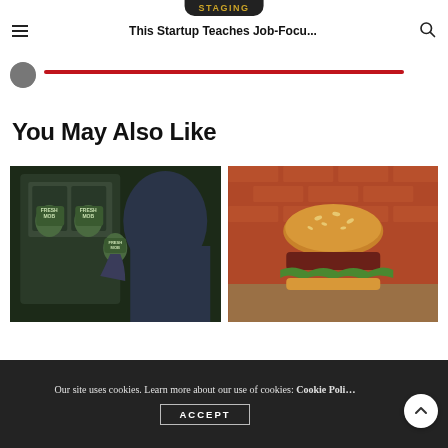STAGING
This Startup Teaches Job-Focu...
[Figure (other): Partial avatar/profile circle with red progress bar]
You May Also Like
[Figure (photo): Person at vending machine holding Fresh Mob salad jar containers]
[Figure (photo): Burger with lettuce and sesame seed bun on wooden surface against brick wall]
Our site uses cookies. Learn more about our use of cookies: Cookie Policy
ACCEPT